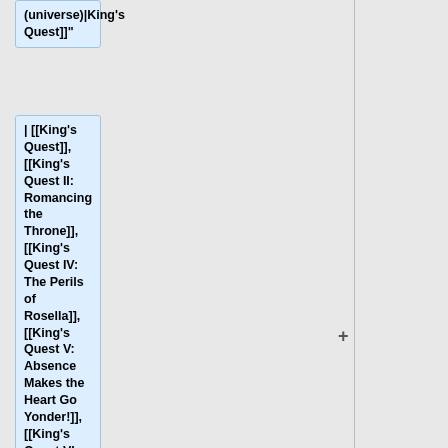(universe)|King's Quest]]"
| [[King's Quest]], [[King's Quest II: Romancing the Throne]], [[King's Quest IV: The Perils of Rosella]], [[King's Quest V: Absence Makes the Heart Go Yonder!]], [[King's Quest VI: Heir Today, Gone Tomorrow]], [[Crazy Nick's Software Picks: King Graham's Board Game